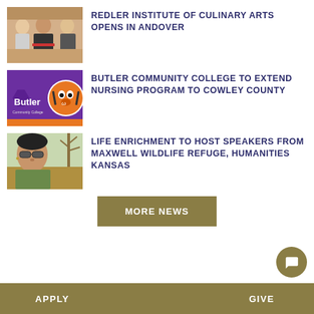[Figure (photo): Three people at a ribbon cutting ceremony for Redler Institute of Culinary Arts]
REDLER INSTITUTE OF CULINARY ARTS OPENS IN ANDOVER
[Figure (logo): Butler Community College logo with purple background and tiger mascot]
BUTLER COMMUNITY COLLEGE TO EXTEND NURSING PROGRAM TO COWLEY COUNTY
[Figure (photo): Woman wearing sunglasses outdoors in a field]
LIFE ENRICHMENT TO HOST SPEAKERS FROM MAXWELL WILDLIFE REFUGE, HUMANITIES KANSAS
MORE NEWS
APPLY    GIVE